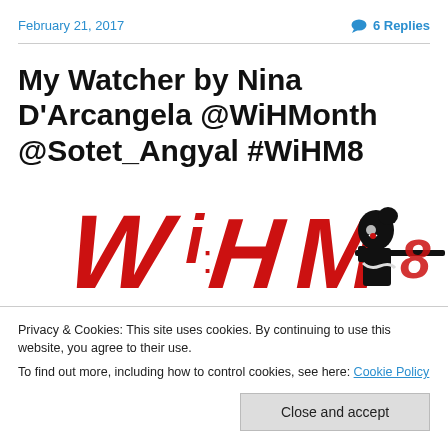February 21, 2017   💬 6 Replies
My Watcher by Nina D'Arcangela @WiHMonth @Sotet_Angyal #WiHM8
[Figure (logo): WiHM8 Women in Horror Month logo in red handwritten script with silhouette of woman holding a weapon]
Privacy & Cookies: This site uses cookies. By continuing to use this website, you agree to their use.
To find out more, including how to control cookies, see here: Cookie Policy
Close and accept